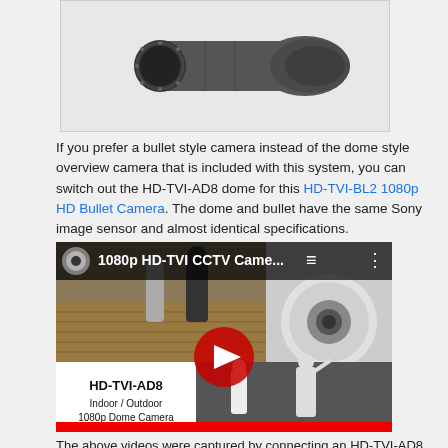[Figure (photo): HD-TVI bullet camera photo, dark gray, shown from a slight angle]
If you prefer a bullet style camera instead of the dome style overview camera that is included with this system, you can switch out the HD-TVI-AD8 dome for this HD-TVI-BL2 1080p HD Bullet Camera. The dome and bullet have the same Sony image sensor and almost identical specifications.
[Figure (screenshot): YouTube video thumbnail for '1080p HD-TVI CCTV Came...' showing CCTV footage of people in a room, a dome camera image, thermal footage, and overlay text 'HD-TVI-AD8 Indoor / Outdoor 1080p Dome Camera'. Red play button in center.]
The above videos were captured by connecting an HD-TVI-AD8 camera to an iDVR-PRO surveillance DVR using RG59 coaxial cable. Please select 1080p